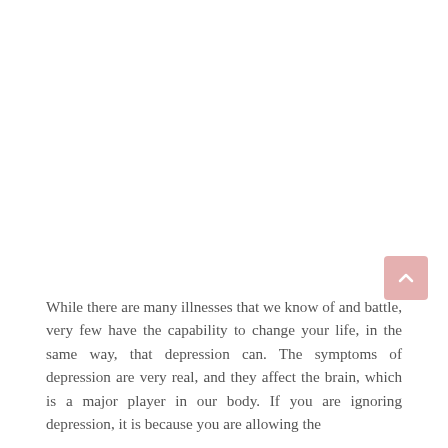While there are many illnesses that we know of and battle, very few have the capability to change your life, in the same way, that depression can. The symptoms of depression are very real, and they affect the brain, which is a major player in our body. If you are ignoring depression, it is because you are allowing the